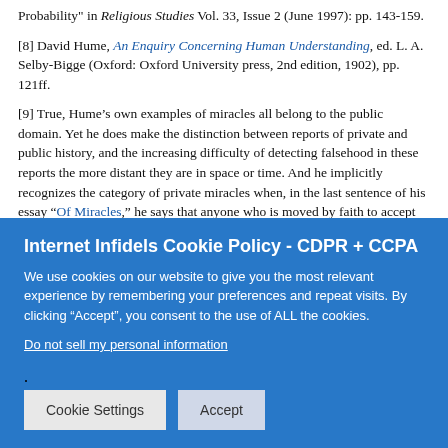Probability" in Religious Studies Vol. 33, Issue 2 (June 1997): pp. 143-159.
[8] David Hume, An Enquiry Concerning Human Understanding, ed. L. A. Selby-Bigge (Oxford: Oxford University press, 2nd edition, 1902), pp. 121ff.
[9] True, Hume’s own examples of miracles all belong to the public domain. Yet he does make the distinction between reports of private and public history, and the increasing difficulty of detecting falsehood in these reports the more distant they are in space or time. And he implicitly recognizes the category of private miracles when, in the last sentence of his essay “Of Miracles,” he says that anyone who is moved by faith to accept
Internet Infidels Cookie Policy - CDPR + CCPA
We use cookies on our website to give you the most relevant experience by remembering your preferences and repeat visits. By clicking “Accept”, you consent to the use of ALL the cookies.
Do not sell my personal information.
Cookie Settings  Accept